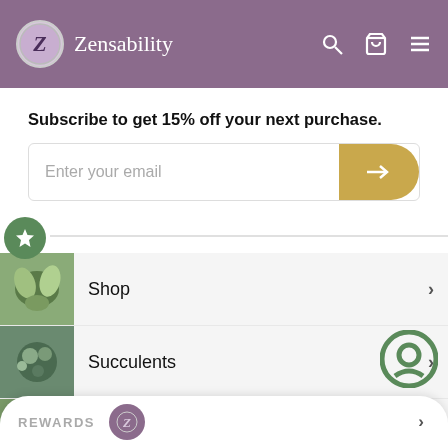Zensability
Subscribe to get 15% off your next purchase.
Enter your email
Shop
Succulents
Hoya
Gift
DIY Kits & Bulk
REWARDS